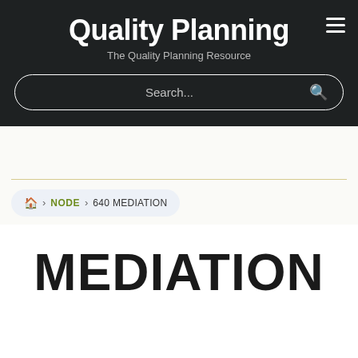Quality Planning — The Quality Planning Resource
Search...
🏠 > NODE > 640 MEDIATION
MEDIATION